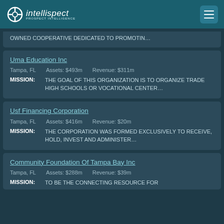intellispect
OWNED COOPERATIVE DEDICATED TO PROMOTIN...
Uma Education Inc
Tampa, FL   Assets: $493m   Revenue: $311m
MISSION: THE GOAL OF THIS ORGANIZATION IS TO ORGANIZE TRADE HIGH SCHOOLS OR VOCATIONAL CENTER...
Usf Financing Corporation
Tampa, FL   Assets: $416m   Revenue: $20m
MISSION: THE CORPORATION WAS FORMED EXCLUSIVELY TO RECEIVE, HOLD, INVEST AND ADMINISTER...
Community Foundation Of Tampa Bay Inc
Tampa, FL   Assets: $288m   Revenue: $39m
MISSION: TO BE THE CONNECTING RESOURCE FOR